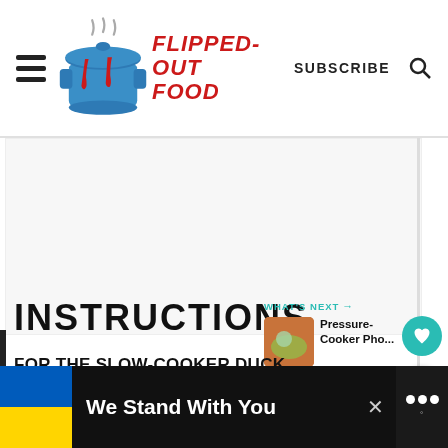Flipped-Out Food — SUBSCRIBE
[Figure (screenshot): White/blank content area placeholder below the header]
INSTRUCTIONS
WHAT'S NEXT → Pressure-Cooker Pho...
FOR THE SLOW-COOKER DUCK
We Stand With You